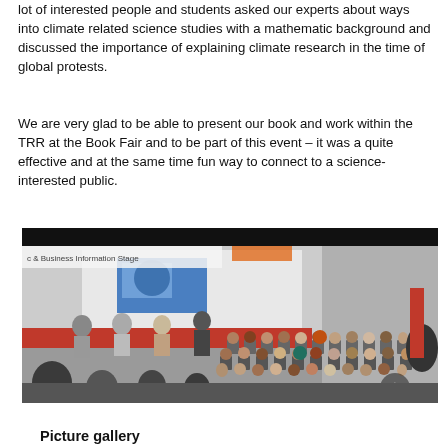lot of interested people and students asked our experts about ways into climate related science studies with a mathematic background and discussed the importance of explaining climate research in the time of global protests.
We are very glad to be able to present our book and work within the TRR at the Book Fair and to be part of this event – it was a quite effective and at the same time fun way to connect to a science-interested public.
[Figure (photo): A panel discussion at a book fair stage labeled 'c & Business Information Stage'. Several panelists sit on a red-carpeted stage with a presentation screen behind them. An audience of many people sits on chairs facing the stage in a large exhibition hall space.]
Picture gallery